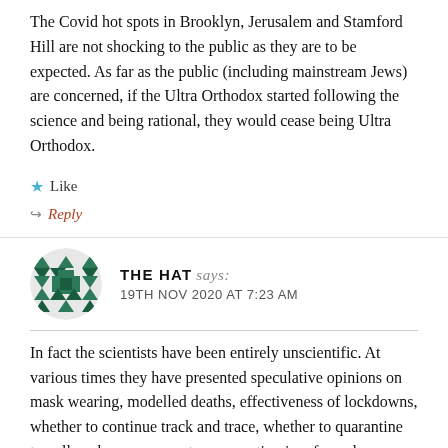The Covid hot spots in Brooklyn, Jerusalem and Stamford Hill are not shocking to the public as they are to be expected. As far as the public (including mainstream Jews) are concerned, if the Ultra Orthodox started following the science and being rational, they would cease being Ultra Orthodox.
★ Like
⇒ Reply
THE HAT says: 19TH NOV 2020 AT 7:23 AM
In fact the scientists have been entirely unscientific. At various times they have presented speculative opinions on mask wearing, modelled deaths, effectiveness of lockdowns, whether to continue track and trace, whether to quarantine travellers, how many metres separation is safe, and even whether sharing a